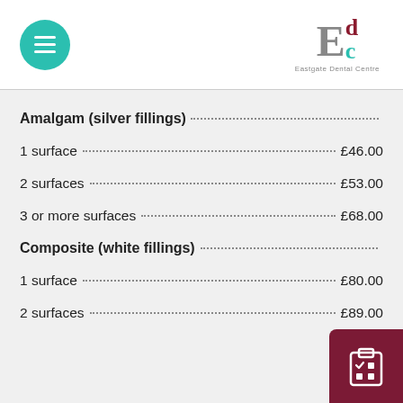[Figure (logo): Eastgate Dental Centre logo with stylized E, d, c letters and teal menu button]
Amalgam (silver fillings)
1 surface ........ £46.00
2 surfaces ........ £53.00
3 or more surfaces ........ £68.00
Composite (white fillings)
1 surface ........ £80.00
2 surfaces ........ £89.00